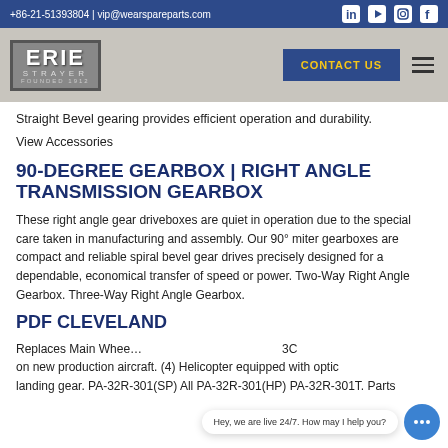+86-21-51393804 | vip@wearspareparts.com
[Figure (logo): Erie Strayer company logo, Founded 1912, in a bordered box with grey background]
Straight Bevel gearing provides efficient operation and durability.
View Accessories
90-DEGREE GEARBOX | RIGHT ANGLE TRANSMISSION GEARBOX
These right angle gear driveboxes are quiet in operation due to the special care taken in manufacturing and assembly. Our 90° miter gearboxes are compact and reliable spiral bevel gear drives precisely designed for a dependable, economical transfer of speed or power. Two-Way Right Angle Gearbox. Three-Way Right Angle Gearbox.
PDF CLEVELAND
Replaces Main Whee... 3C on new production aircraft. (4) Helicopter equipped with optic landing gear. PA-32R-301(SP) All PA-32R-301(HP) PA-32R-301T. Parts